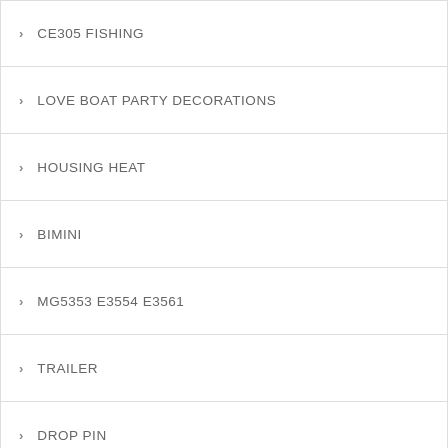CE305 FISHING
LOVE BOAT PARTY DECORATIONS
HOUSING HEAT
BIMINI
MG5353 E3554 E3561
TRAILER
DROP PIN
MARINE RANKS AND INSIGNIA
MORE ENGINE
BOAT ADVANCE AUTO PARTS IN COPPERAS COVE